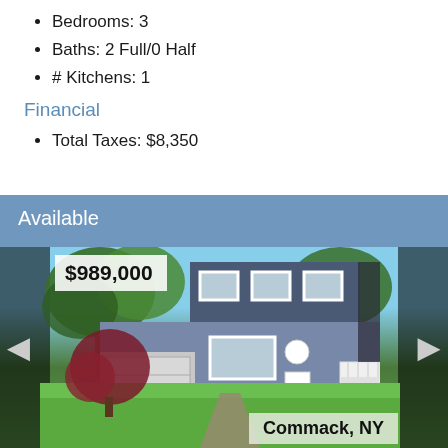Bedrooms: 3
Baths: 2 Full/0 Half
# Kitchens: 1
Financial
Total Taxes: $8,350
Available
[Figure (photo): Exterior photo of a two-story gray/blue house with white garage door, green lawn, and trees in background. Price badge shows $989,000. Location label shows Commack, NY.]